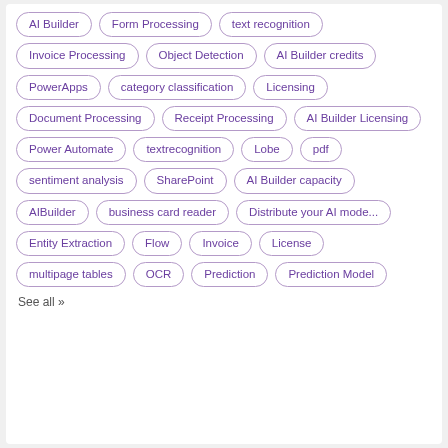AI Builder
Form Processing
text recognition
Invoice Processing
Object Detection
AI Builder credits
PowerApps
category classification
Licensing
Document Processing
Receipt Processing
AI Builder Licensing
Power Automate
textrecognition
Lobe
pdf
sentiment analysis
SharePoint
AI Builder capacity
AIBuilder
business card reader
Distribute your AI mode...
Entity Extraction
Flow
Invoice
License
multipage tables
OCR
Prediction
Prediction Model
See all >>